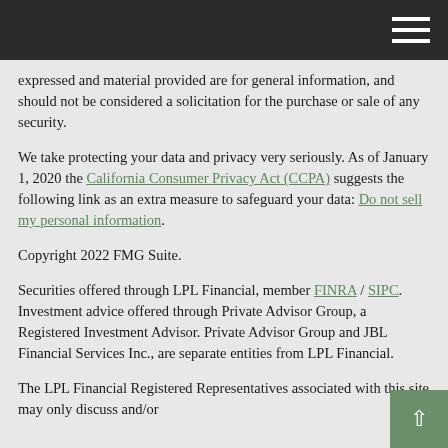[navigation bar with hamburger menu]
expressed and material provided are for general information, and should not be considered a solicitation for the purchase or sale of any security.
We take protecting your data and privacy very seriously. As of January 1, 2020 the California Consumer Privacy Act (CCPA) suggests the following link as an extra measure to safeguard your data: Do not sell my personal information.
Copyright 2022 FMG Suite.
Securities offered through LPL Financial, member FINRA / SIPC. Investment advice offered through Private Advisor Group, a Registered Investment Advisor. Private Advisor Group and JBL Financial Services Inc., are separate entities from LPL Financial.
The LPL Financial Registered Representatives associated with this site may only discuss and/or